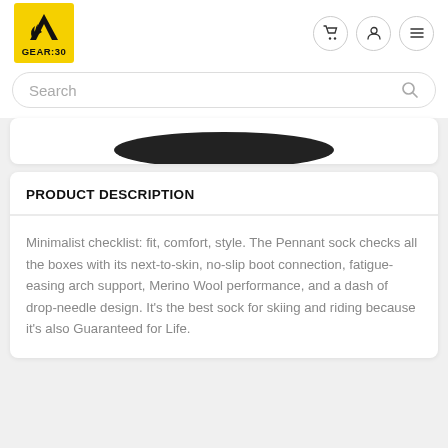[Figure (logo): GEAR:30 logo — yellow square with black mountain/flame icon and text GEAR:30]
Navigation icons: cart, user, menu
Search
[Figure (photo): Partial view of a dark elliptical product (sock bottom) on white background]
PRODUCT DESCRIPTION
Minimalist checklist: fit, comfort, style. The Pennant sock checks all the boxes with its next-to-skin, no-slip boot connection, fatigue-easing arch support, Merino Wool performance, and a dash of drop-needle design. It's the best sock for skiing and riding because it's also Guaranteed for Life.